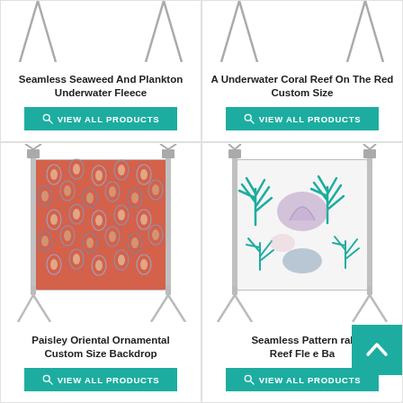[Figure (photo): Partial product card top - Seamless Seaweed And Plankton Underwater Fleece with backdrop stand image cropped at top]
Seamless Seaweed And Plankton Underwater Fleece
VIEW ALL PRODUCTS
[Figure (photo): Partial product card top - A Underwater Coral Reef On The Red Custom Size with backdrop stand image cropped at top]
A Underwater Coral Reef On The Red Custom Size
VIEW ALL PRODUCTS
[Figure (photo): Paisley Oriental Ornamental backdrop on a stand - orange/coral colored fabric with blue and cream paisley pattern]
Paisley Oriental Ornamental Custom Size Backdrop
VIEW ALL PRODUCTS
[Figure (photo): Seamless Pattern Coral Reef Fleece Backdrop on a stand - white fabric with teal/blue and purple coral reef pattern]
Seamless Pattern Coral Reef Fleece Backdrop
VIEW ALL PRODUCTS